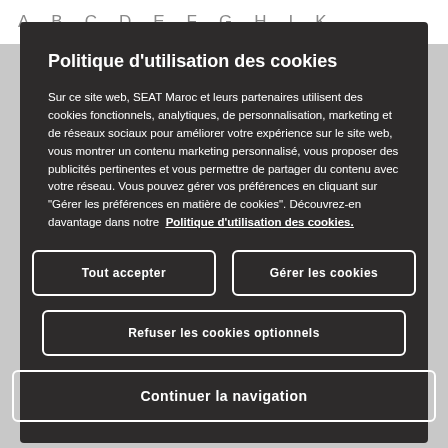A B C D E F G H I K
Politique d'utilisation des cookies
Sur ce site web, SEAT Maroc et leurs partenaires utilisent des cookies fonctionnels, analytiques, de personnalisation, marketing et de réseaux sociaux pour améliorer votre expérience sur le site web, vous montrer un contenu marketing personnalisé, vous proposer des publicités pertinentes et vous permettre de partager du contenu avec votre réseau. Vous pouvez gérer vos préférences en cliquant sur "Gérer les préférences en matière de cookies". Découvrez-en davantage dans notre  Politique d'utilisation des cookies.
Tout accepter
Gérer les cookies
Refuser les cookies optionnels
Continuer la navigation